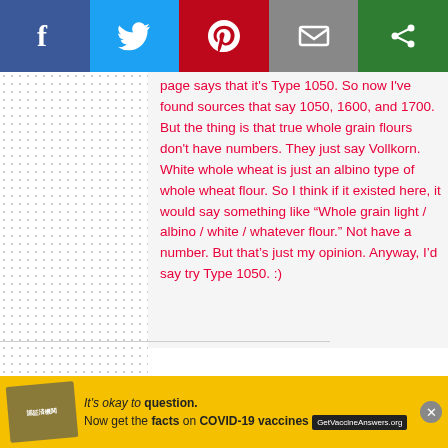[Figure (screenshot): Social media share bar with Facebook (blue), Twitter (light blue), Pinterest (red), Email (grey), and another share option (green) buttons]
page says that it's Type 1050. So now I've found sources that say 1050, 1600, and 1700. But the thing is that true whole grain flours don't have numbers. They just say Vollkorn. White whole wheat is just an albino type of whole wheat flour. So I think if it existed here, it would say something like “Whole grain light / albino / white / whatever flour.” Not have a number. But that’s just my opinion. Anyway, I’d say try Type 1050. :)
Scroll to top
[Figure (screenshot): Advertisement banner: It's okay to question. Now get the facts on COVID-19 vaccines. GetVaccineAnswers.org]